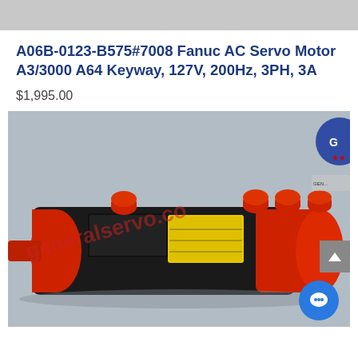[Figure (photo): Top gray navigation/header bar of a website]
A06B-0123-B575#7008 Fanuc AC Servo Motor A3/3000 A64 Keyway, 127V, 200Hz, 3PH, 3A
$1,995.00
[Figure (photo): Photo of a Fanuc AC Servo Motor (black and red body) with red caps, yellow label, with 'generalservo.co' watermark overlaid in red text diagonally. A blue circle chat button and a gray scroll-up button are visible in the bottom-right corner.]